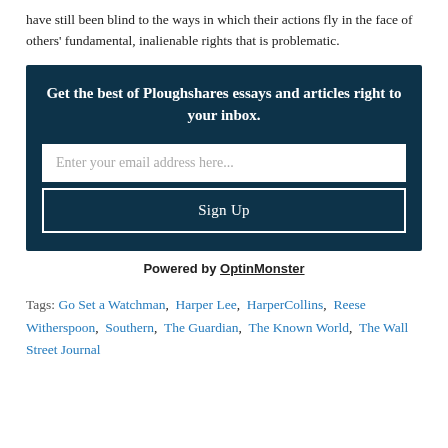have still been blind to the ways in which their actions fly in the face of others' fundamental, inalienable rights that is problematic.
[Figure (other): Email signup widget with dark navy background. Title: 'Get the best of Ploughshares essays and articles right to your inbox.' Contains an email input field with placeholder 'Enter your email address here...' and a 'Sign Up' button.]
Powered by OptinMonster
Tags: Go Set a Watchman, Harper Lee, HarperCollins, Reese Witherspoon, Southern, The Guardian, The Known World, The Wall Street Journal